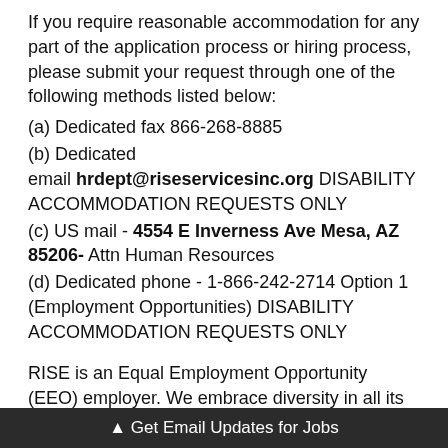If you require reasonable accommodation for any part of the application process or hiring process, please submit your request through one of the following methods listed below:
(a) Dedicated fax 866-268-8885
(b) Dedicated email hrdept@riseservicesinc.org DISABILITY ACCOMMODATION REQUESTS ONLY
(c) US mail - 4554 E Inverness Ave Mesa, AZ 85206- Attn Human Resources
(d) Dedicated phone - 1-866-242-2714 Option 1 (Employment Opportunities) DISABILITY ACCOMMODATION REQUESTS ONLY
RISE is an Equal Employment Opportunity (EEO) employer. We embrace diversity in all its form. We provide equal employment opportunities to all qualified applicants ... on, sex,
▲ Get Email Updates for Jobs